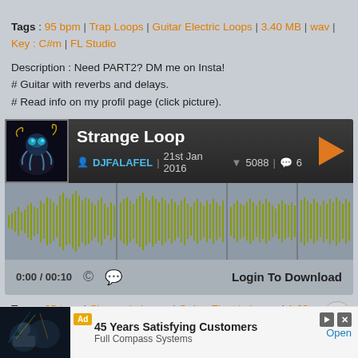Tags : 95 bpm | Trap Loops | Guitar Electric Loops | 3.40 MB | wav | Key : C#m | FL Studio
Description : Need PART2? DM me on Insta!
# Guitar with reverbs and delays.
# Read info on my profil page (click picture).
[Figure (screenshot): Audio player widget showing track 'Strange Loop' by DJFALAFEL, dated 21st Jan 2016, with 5088 downloads and 6 comments. Waveform displayed in olive/yellow-green color on grey background.]
Tags : 95 bpm | Cinematic Loops | Guitar Electric Loops | 1.69 MB | wav | Key : Unknown
Description: use it like...
[Figure (screenshot): Ad banner: '45 Years Satisfying Customers' by Full Compass Systems with Open button]